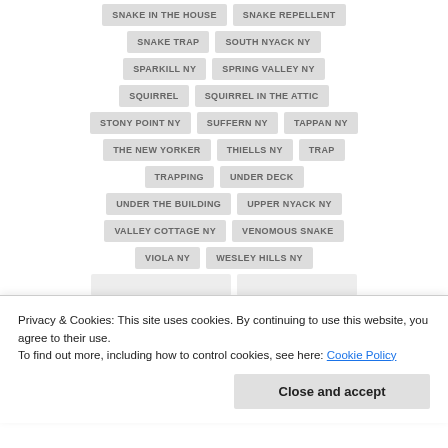SNAKE IN THE HOUSE
SNAKE REPELLENT
SNAKE TRAP
SOUTH NYACK NY
SPARKILL NY
SPRING VALLEY NY
SQUIRREL
SQUIRREL IN THE ATTIC
STONY POINT NY
SUFFERN NY
TAPPAN NY
THE NEW YORKER
THIELLS NY
TRAP
TRAPPING
UNDER DECK
UNDER THE BUILDING
UPPER NYACK NY
VALLEY COTTAGE NY
VENOMOUS SNAKE
VIOLA NY
WESLEY HILLS NY
Privacy & Cookies: This site uses cookies. By continuing to use this website, you agree to their use. To find out more, including how to control cookies, see here: Cookie Policy
Close and accept